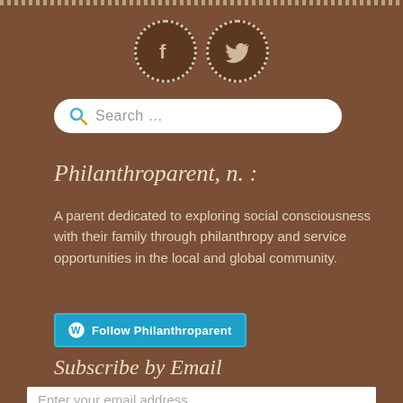[Figure (illustration): Social media icons: Facebook and Twitter in dotted circular borders on brown background]
[Figure (screenshot): Search bar with magnifying glass icon and placeholder text 'Search ...']
Philanthroparent, n. :
A parent dedicated to exploring social consciousness with their family through philanthropy and service opportunities in the local and global community.
[Figure (other): WordPress 'Follow Philanthroparent' button in teal/blue color]
Subscribe by Email
Enter your email address